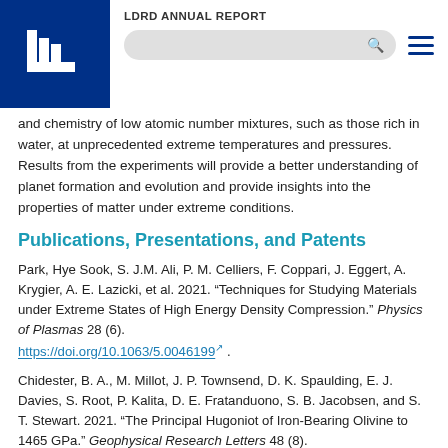LDRD ANNUAL REPORT
and chemistry of low atomic number mixtures, such as those rich in water, at unprecedented extreme temperatures and pressures. Results from the experiments will provide a better understanding of planet formation and evolution and provide insights into the properties of matter under extreme conditions.
Publications, Presentations, and Patents
Park, Hye Sook, S. J.M. Ali, P. M. Celliers, F. Coppari, J. Eggert, A. Krygier, A. E. Lazicki, et al. 2021. “Techniques for Studying Materials under Extreme States of High Energy Density Compression.” Physics of Plasmas 28 (6). https://doi.org/10.1063/5.0046199 .
Chidester, B. A., M. Millot, J. P. Townsend, D. K. Spaulding, E. J. Davies, S. Root, P. Kalita, D. E. Fratanduono, S. B. Jacobsen, and S. T. Stewart. 2021. “The Principal Hugoniot of Iron-Bearing Olivine to 1465 GPa.” Geophysical Research Letters 48 (8).